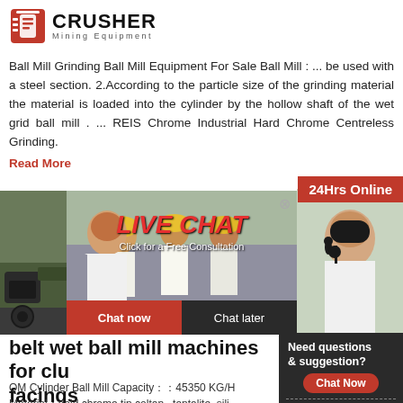[Figure (logo): Crusher Mining Equipment logo with red shopping bag icon and bold CRUSHER text]
Ball Mill Grinding Ball Mill Equipment For Sale Ball Mill : ... be used with a steel section. 2.According to the particle size of the grinding material the material is loaded into the cylinder by the hollow shaft of the wet grid ball mill . ... REIS Chrome Industrial Hard Chrome Centreless Grinding.
Read More
[Figure (screenshot): Live chat popup overlay with construction workers in background, LIVE CHAT title, Click for a Free Consultation subtitle, Chat now and Chat later buttons, close X button]
[Figure (photo): Mining/crusher equipment photo on left side]
[Figure (photo): Customer service representative with headset on right side, 24Hrs Online badge]
belt wet ball mill machines for clu facings
QM Cylinder Ball Mill Capacity：：45350 KG/H Material：gold,chrome,tin,coltan, ,tantalite ,sili Description：Cylinder Ball Mill mainly applies i test and production, we provide dry and wet avai ball mill
[Figure (screenshot): Right sidebar dark panel with Need questions & suggestion? text, Chat Now red button, Enquiry link, limingjlmofen@sina.com email]